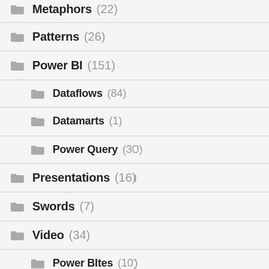Metaphors (22)
Patterns (26)
Power BI (151)
Dataflows (84)
Datamarts (1)
Power Query (30)
Presentations (16)
Swords (7)
Video (34)
Power BItes (10)